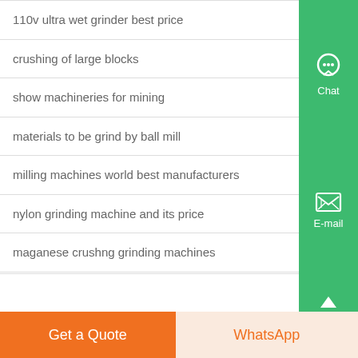110v ultra wet grinder best price
crushing of large blocks
show machineries for mining
materials to be grind by ball mill
milling machines world best manufacturers
nylon grinding machine and its price
maganese crushng grinding machines